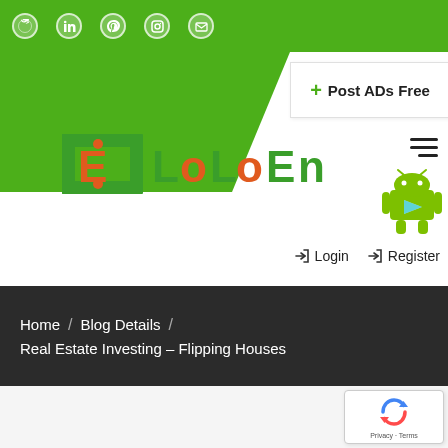[Figure (screenshot): Top green social media icons banner with LinkedIn, Pinterest, Instagram, and other icons on green background]
[Figure (logo): Post ADs Free button with green plus sign]
[Figure (logo): LoLoEn website logo with green bracket and orange E letter]
[Figure (illustration): Hamburger menu icon (three horizontal lines)]
[Figure (illustration): Android robot mascot icon with Google Play triangle]
Login   Register
Home / Blog Details / Real Estate Investing – Flipping Houses
[Figure (illustration): reCAPTCHA widget with spinning arrows logo and Privacy - Terms text]